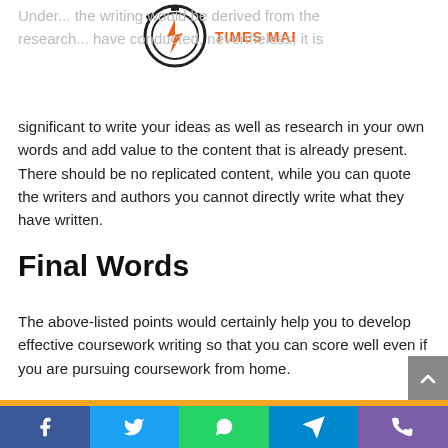[Figure (logo): Times Market logo with stopwatch/lightning bolt icon and orange text 'TIMES MARKET']
Under... the writing would be derived from the research... have conducted, nevertheless, it is significant to write your ideas as well as research in your own words and add value to the content that is already present. There should be no replicated content, while you can quote the writers and authors you cannot directly write what they have written.
Final Words
The above-listed points would certainly help you to develop effective coursework writing so that you can score well even if you are pursuing coursework from home.
If you still seek online coursework help, then it is highly
[Figure (other): Social sharing bar with Facebook, Twitter, WhatsApp, Telegram, and phone icons]